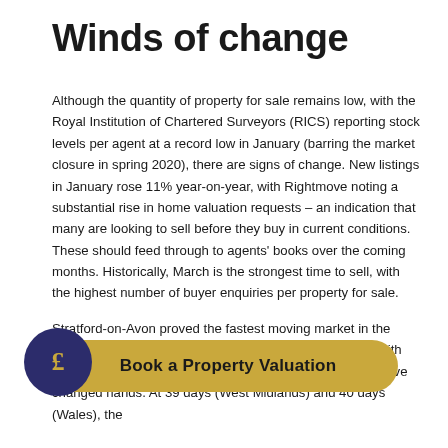Winds of change
Although the quantity of property for sale remains low, with the Royal Institution of Chartered Surveyors (RICS) reporting stock levels per agent at a record low in January (barring the market closure in spring 2020), there are signs of change. New listings in January rose 11% year-on-year, with Rightmove noting a substantial rise in home valuation requests – an indication that many are looking to sell before they buy in current conditions. These should feed through to agents' books over the coming months. Historically, March is the strongest time to sell, with the highest number of buyer enquiries per property for sale.
Stratford-on-Avon proved the fastest moving market in the West Midlands and Mid Wales over the course of 2021, with one in every 20 privately owned properties estimated to have changed hands. At 39 days (West Midlands) and 40 days (Wales), the
[Figure (other): Dark navy circle icon with pound sign (£) and a gold rounded rectangle button reading 'Book a Property Valuation']